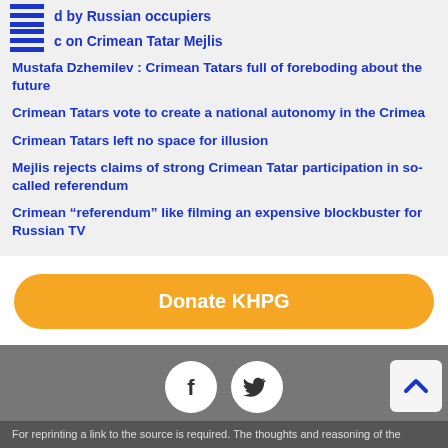d by Russian occupiers
c on Crimean Tatar Mejlis
Mustafa Dzhemilev : Crimean Tatars full of foreboding about the future
Crimean Tatars vote to create a national autonomy in the Crimea
Crimean Tatars left no space for illusion
Mejlis rejects claims of strong Crimean Tatar participation in so-called referendum
Crimean “referendum” like filming an expensive blockbuster for Russian TV
[Figure (other): Donate KHPG orange button]
[Figure (other): Facebook and Twitter share icons with Share this text]
For reprinting a link to the source is required. The thoughts and reasoning of the